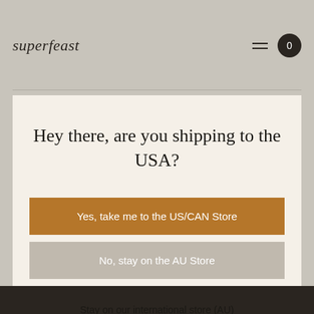superfeast
Hey there, are you shipping to the USA?
Yes, take me to the US/CAN Store
No, stay on the AU Store
Stay on our international store (AU)